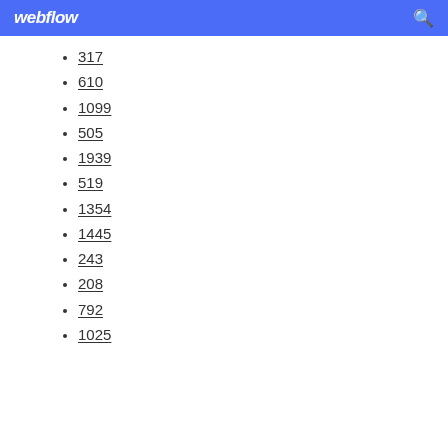webflow
317
610
1099
505
1939
519
1354
1445
243
208
792
1025